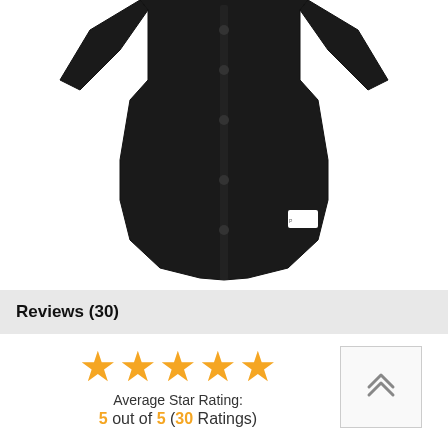[Figure (photo): Black button-up baseball jersey displayed against white background, showing the front placket with black buttons and a small white label tag on the lower right side.]
Reviews (30)
[Figure (infographic): Five orange stars representing a 5-out-of-5 star rating, followed by text reading 'Average Star Rating:' and '5 out of 5 (30 Ratings)']
Average Star Rating:
5 out of 5 (30 Ratings)